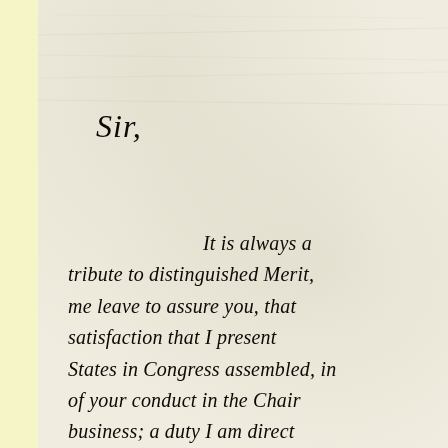[Figure (photo): Handwritten historical letter on aged cream/ivory paper with light yellow border. Shows cursive script salutation 'Sir,' followed by body text beginning 'It is always a tribute to distinguished Merit, me leave to assure you, that satisfaction that I present States in Congress assembled, in of your conduct in the Chair business; a duty I am direct']